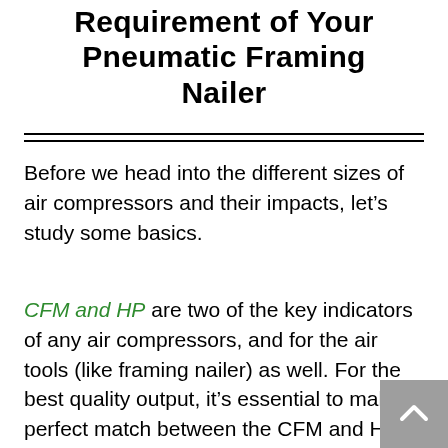Requirement of Your Pneumatic Framing Nailer
Before we head into the different sizes of air compressors and their impacts, let’s study some basics.
CFM and HP are two of the key indicators of any air compressors, and for the air tools (like framing nailer) as well. For the best quality output, it’s essential to make a perfect match between the CFM and HP requirement